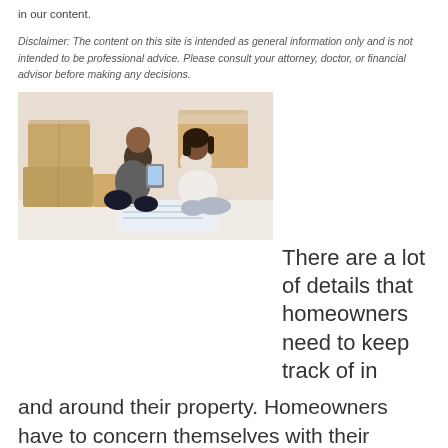in our content.
Disclaimer: The content on this site is intended as general information only and is not intended to be professional advice. Please consult your attorney, doctor, or financial advisor before making any decisions.
[Figure (photo): A couple sitting on the floor looking at a tablet, surrounded by moving boxes]
There are a lot of details that homeowners need to keep track of in and around their property. Homeowners have to concern themselves with their HVAC systems, keeping their roofing safe and in good condition and making sure intruders do not get in. As if that was not enough, they may need to contract with a local radon mitigation company to remove the dangerous gas